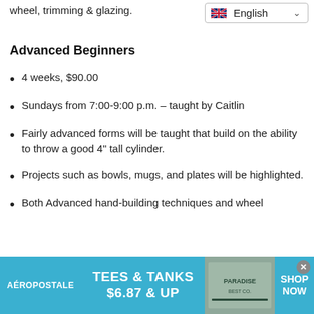wheel, trimming & glazing.
[Figure (screenshot): Language selector dropdown showing UK flag and 'English' with chevron]
Advanced Beginners
4 weeks, $90.00
Sundays from 7:00-9:00 p.m. – taught by Caitlin
Fairly advanced forms will be taught that build on the ability to throw a good 4" tall cylinder.
Projects such as bowls, mugs, and plates will be highlighted.
Both Advanced hand-building techniques and wheel
[Figure (screenshot): Aeropostale advertisement banner: TEES & TANKS $6.87 & UP SHOP NOW]